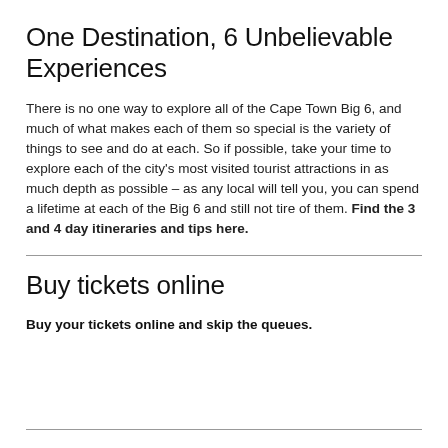One Destination, 6 Unbelievable Experiences
There is no one way to explore all of the Cape Town Big 6, and much of what makes each of them so special is the variety of things to see and do at each. So if possible, take your time to explore each of the city’s most visited tourist attractions in as much depth as possible – as any local will tell you, you can spend a lifetime at each of the Big 6 and still not tire of them. Find the 3 and 4 day itineraries and tips here.
Buy tickets online
Buy your tickets online and skip the queues.